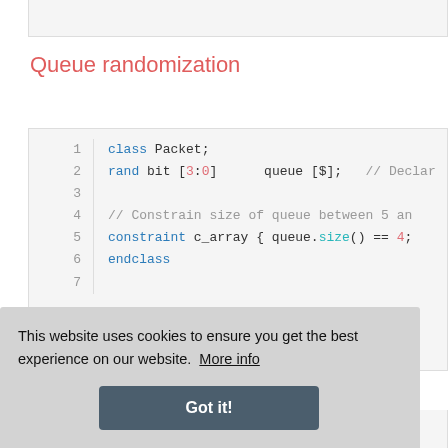Queue randomization
[Figure (screenshot): Code block showing SystemVerilog code for queue randomization. Lines 1-7 visible. Line 1: class Packet; Line 2: rand bit [3:0] queue [$]; // Declar... Line 3: (empty) Line 4: // Constrain size of queue between 5 an... Line 5: constraint c_array { queue.size() == 4; Line 6: endclass Line 7: (partial)]
This website uses cookies to ensure you get the best experience on our website.  More info
Got it!